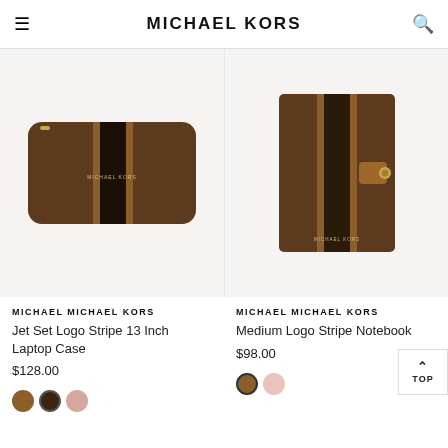MICHAEL KORS
[Figure (photo): Jet Set Logo Stripe 13 Inch Laptop Case — brown with black and tan vertical stripe, gold zipper]
MICHAEL MICHAEL KORS
Jet Set Logo Stripe 13 Inch Laptop Case
$128.00
[Figure (photo): Medium Logo Stripe Notebook — brown with dark and tan vertical stripe, tan snap closure]
MICHAEL MICHAEL KORS
Medium Logo Stripe Notebook
$98.00